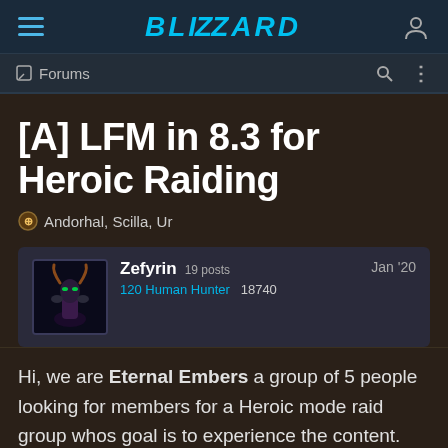Blizzard Forums - [A] LFM in 8.3 for Heroic Raiding
[A] LFM in 8.3 for Heroic Raiding
Andorhal, Scilla, Ur
Zefyrin  19 posts  120 Human Hunter  18740  Jan '20
Hi, we are Eternal Embers a group of 5 people looking for members for a Heroic mode raid group whos goal is to experience the content. We are a older group and been playing together for